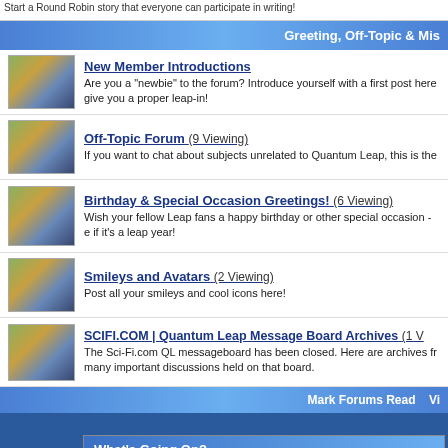Start a Round Robin story that everyone can participate in writing!
Greeting, Off-Topic & Mis
New Member Introductions — Are you a "newbie" to the forum? Introduce yourself with a first post here give you a proper leap-in!
Off-Topic Forum (9 Viewing) — If you want to chat about subjects unrelated to Quantum Leap, this is the
Birthday & Special Occasion Greetings! (6 Viewing) — Wish your fellow Leap fans a happy birthday or other special occasion - e if it's a leap year!
Smileys and Avatars (2 Viewing) — Post all your smileys and cool icons here!
SCIFI.COM | Quantum Leap Message Board Archives (1 V — The Sci-Fi.com QL messageboard has been closed. Here are archives fr many important discussions held on that board.
Mark Forums Read   Vi
What's Going On?
Al's Place Chat Users Online
Click to enter!